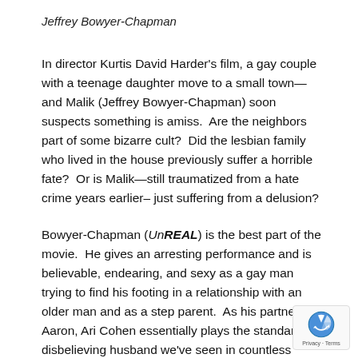Jeffrey Bowyer-Chapman
In director Kurtis David Harder's film, a gay couple with a teenage daughter move to a small town—and Malik (Jeffrey Bowyer-Chapman) soon suspects something is amiss.  Are the neighbors part of some bizarre cult?  Did the lesbian family who lived in the house previously suffer a horrible fate?  Or is Malik—still traumatized from a hate crime years earlier– just suffering from a delusion?
Bowyer-Chapman (UnREAL) is the best part of the movie.  He gives an arresting performance and is believable, endearing, and sexy as a gay man trying to find his footing in a relationship with an older man and as a step parent.  As his partner Aaron, Ari Cohen essentially plays the standard disbelieving husband we've seen in countless horror films, but for the most